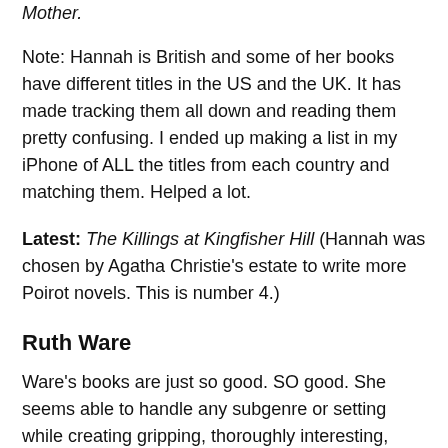Mother.
Note: Hannah is British and some of her books have different titles in the US and the UK. It has made tracking them all down and reading them pretty confusing. I ended up making a list in my iPhone of ALL the titles from each country and matching them. Helped a lot.
Latest: The Killings at Kingfisher Hill (Hannah was chosen by Agatha Christie's estate to write more Poirot novels. This is number 4.)
Ruth Ware
Ware's books are just so good. SO good. She seems able to handle any subgenre or setting while creating gripping, thoroughly interesting, dark, and complex women to navigate them.